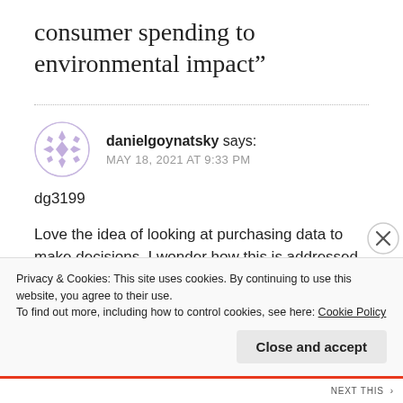consumer spending to environmental impact”
danielgoynatsky says:
MAY 18, 2021 AT 9:33 PM
dg3199
Love the idea of looking at purchasing data to make decisions. I wonder how this is addressed with respect to purchases with “ambiguous” or “unclear”
Privacy & Cookies: This site uses cookies. By continuing to use this website, you agree to their use.
To find out more, including how to control cookies, see here: Cookie Policy
Close and accept